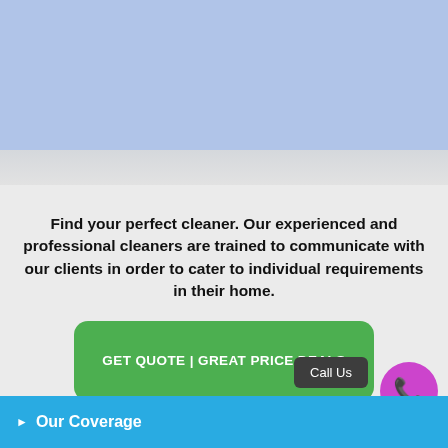[Figure (photo): Top section showing a light blue/periwinkle background with faint room/interior scene below, representing a cleaning service hero image]
Find your perfect cleaner. Our experienced and professional cleaners are trained to communicate with our clients in order to cater to individual requirements in their home.
[Figure (other): Green rounded button with text: GET QUOTE | GREAT PRICE DEALS]
Call Us
Our Coverage